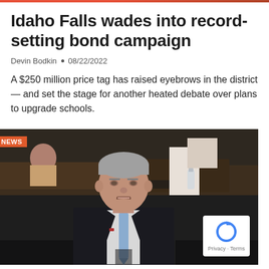Idaho Falls wades into record-setting bond campaign
Devin Bodkin • 08/22/2022
A $250 million price tag has raised eyebrows in the district — and set the stage for another heated debate over plans to upgrade schools.
[Figure (photo): A man in a dark suit and blue tie speaking, photographed in what appears to be a legislative chamber or hearing room. A NEWS badge appears in the upper left of the image.]